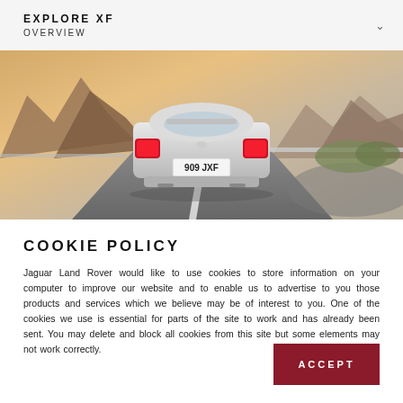EXPLORE XF OVERVIEW
[Figure (photo): Rear view of a silver Jaguar XF sedan with license plate 909 JXF driving on a winding road with mountains and desert landscape in the background]
COOKIE POLICY
Jaguar Land Rover would like to use cookies to store information on your computer to improve our website and to enable us to advertise to you those products and services which we believe may be of interest to you. One of the cookies we use is essential for parts of the site to work and has already been sent. You may delete and block all cookies from this site but some elements may not work correctly.
ACCEPT